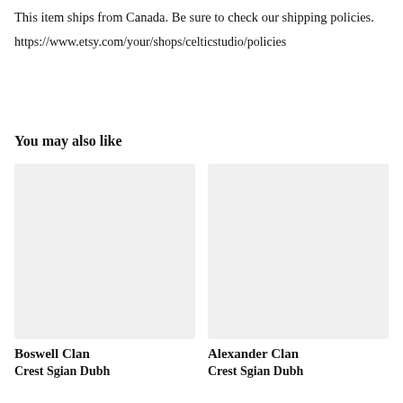This item ships from Canada. Be sure to check our shipping policies.
https://www.etsy.com/your/shops/celticstudio/policies
You may also like
[Figure (photo): Product image placeholder (light gray rectangle) for Boswell Clan product]
Boswell Clan
Crest Sgian Dubh...
[Figure (photo): Product image placeholder (light gray rectangle) for Alexander Clan product]
Alexander Clan
Crest Sgian Dubh...